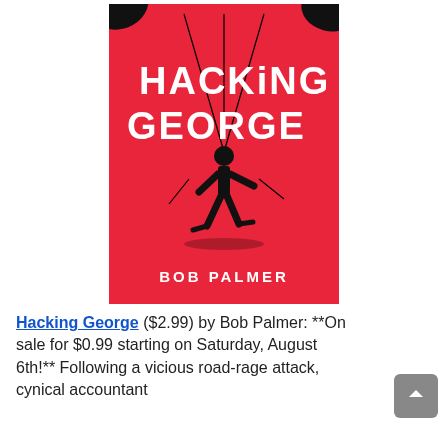[Figure (illustration): Book cover for 'Hacking George' by Bob Palmer. Red background with a black silhouette of a marionette puppet man on strings, title text 'HACKING GEORGE' in large white stylized letters, author name 'BOB PALMER' in white at the bottom.]
Hacking George ($2.99) by Bob Palmer: **On sale for $0.99 starting on Saturday, August 6th!** Following a vicious road-rage attack, cynical accountant